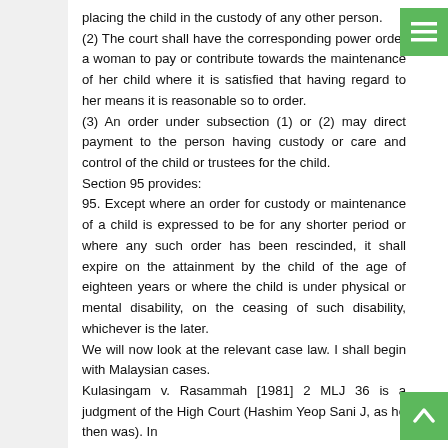placing the child in the custody of any other person.
(2) The court shall have the corresponding power order a woman to pay or contribute towards the maintenance of her child where it is satisfied that having regard to her means it is reasonable so to order.
(3) An order under subsection (1) or (2) may direct payment to the person having custody or care and control of the child or trustees for the child.
Section 95 provides:
95. Except where an order for custody or maintenance of a child is expressed to be for any shorter period or where any such order has been rescinded, it shall expire on the attainment by the child of the age of eighteen years or where the child is under physical or mental disability, on the ceasing of such disability, whichever is the later.
We will now look at the relevant case law. I shall begin with Malaysian cases.
Kulasingam v. Rasammah [1981] 2 MLJ 36 is a judgment of the High Court (Hashim Yeop Sani J, as he then was). In